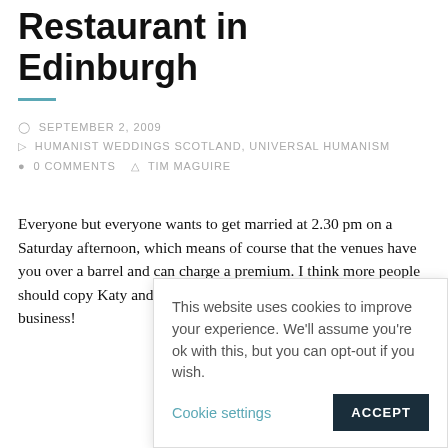Restaurant in Edinburgh
SEPTEMBER 2, 2009
HUMANIST WEDDINGS SCOTLAND, UNIVERSAL HUMANISM
0 COMMENTS   TIM MAGUIRE
Everyone but everyone wants to get married at 2.30 pm on a Saturday afternoon, which means of course that the venues have you over a barrel and can charge a premium. I think more people should copy Katy and Beej's when even a to delighted to se business!
This website uses cookies to improve your experience. We'll assume you're ok with this, but you can opt-out if you wish.
Cookie settings
ACCEPT